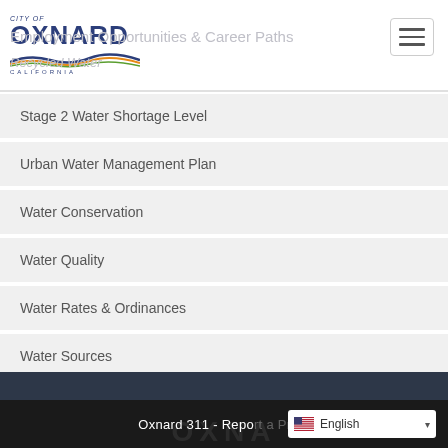City of Oxnard, California — Employment Opportunities & Career Paths / Recycled Water
Stage 2 Water Shortage Level
Urban Water Management Plan
Water Conservation
Water Quality
Water Rates & Ordinances
Water Sources
Oxnard 311 - Report a Problem  English